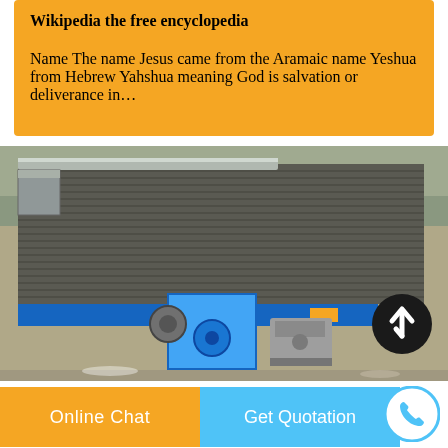Wikipedia the free encyclopedia
Name The name Jesus came from the Aramaic name Yeshua from Hebrew Yahshua meaning God is salvation or deliverance in…
[Figure (photo): Photo of an industrial conveyor/shaking table machine with a blue frame, motor, and ribbed surface, outdoors on concrete.]
Online Chat
Get Quotation